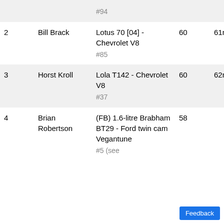| Pos | Driver | Car | Laps | Time |
| --- | --- | --- | --- | --- |
|  |  | #94 |  |  |
| 2 | Bill Brack | Lotus 70 [04] - Chevrolet V8
#85 | 60 | 61m 24.3s |
| 3 | Horst Kroll | Lola T142 - Chevrolet V8
#37 | 60 | 62m 03.8s |
| 4 | Brian Robertson | (FB) 1.6-litre Brabham BT29 - Ford twin cam Vegantune
#5 (see | 58 |  |